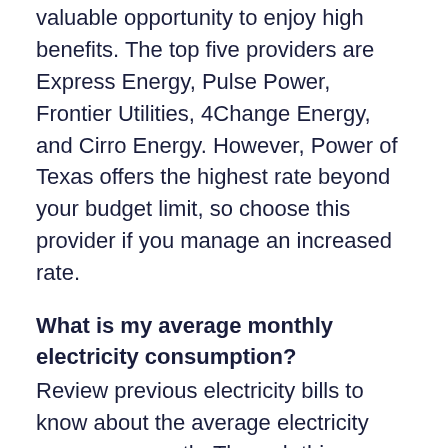valuable opportunity to enjoy high benefits. The top five providers are Express Energy, Pulse Power, Frontier Utilities, 4Change Energy, and Cirro Energy. However, Power of Texas offers the highest rate beyond your budget limit, so choose this provider if you manage an increased rate.
What is my average monthly electricity consumption?
Review previous electricity bills to know about the average electricity usage per month. Through this, you will acknowledge about useful overview that which is the best Kemah electricity plan and choose your favorite provider. The electricity plans